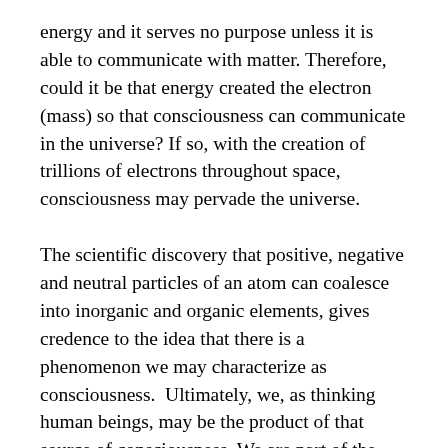energy and it serves no purpose unless it is able to communicate with matter. Therefore, could it be that energy created the electron (mass) so that consciousness can communicate in the universe? If so, with the creation of trillions of electrons throughout space, consciousness may pervade the universe.
The scientific discovery that positive, negative and neutral particles of an atom can coalesce into inorganic and organic elements, gives credence to the idea that there is a phenomenon we may characterize as consciousness.  Ultimately, we, as thinking human beings, may be the product of that source of consciousness. We are part of the “stuff” that makes up the universe, and in trying to understand our beginnings, it could be due to the inherent forces of the atom that surfaces as consciousness. This hypothetical idea that matter